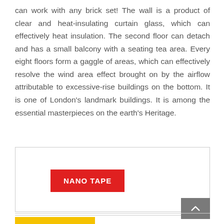can work with any brick set! The wall is a product of clear and heat-insulating curtain glass, which can effectively heat insulation. The second floor can detach and has a small balcony with a seating tea area. Every eight floors form a gaggle of areas, which can effectively resolve the wind area effect brought on by the airflow attributable to excessive-rise buildings on the bottom. It is one of London's landmark buildings. It is among the essential masterpieces on the earth's Heritage.
[Figure (other): A red button/label reading 'NANO TAPE' inside a light-bordered box]